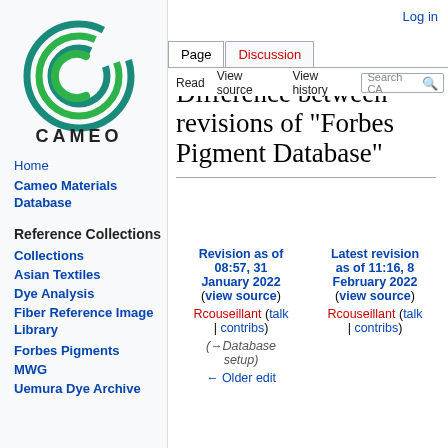Log in
[Figure (logo): CAMEO wiki logo — concentric circles in teal/green with a stylized C, with text CAMEO below]
Home
Cameo Materials Database
Reference Collections
Collections
Asian Textiles
Dye Analysis
Fiber Reference Image Library
Forbes Pigments
MWG
Uemura Dye Archive
Difference between revisions of "Forbes Pigment Database"
| Revision as of 08:57, 31 January 2022 (view source) | Latest revision as of 11:16, 8 February 2022 (view source) |
| --- | --- |
| Rcouseillant (talk | contribs) | Rcouseillant (talk | contribs) |
| (→Database setup) |  |
| ← Older edit |  |